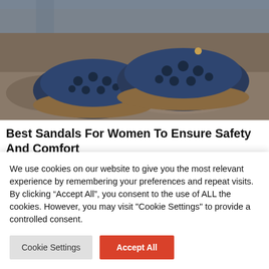[Figure (photo): Close-up photo of a pair of navy blue women's sandals with floral laser-cut pattern on upper and brown sole, shown on rocky surface with jeans visible at top]
Best Sandals For Women To Ensure Safety And Comfort
We use cookies on our website to give you the most relevant experience by remembering your preferences and repeat visits. By clicking “Accept All”, you consent to the use of ALL the cookies. However, you may visit "Cookie Settings" to provide a controlled consent.